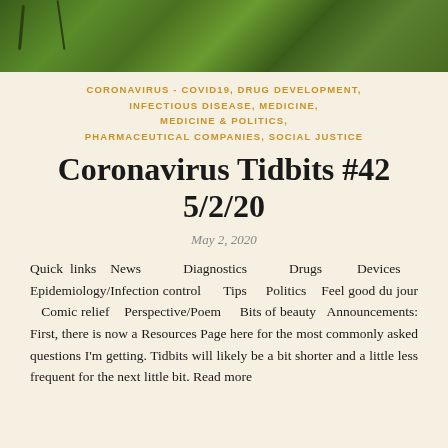[Figure (photo): Green foliage/plants photo strip at top of page]
CORONAVIRUS - COVID19, DRUG DEVELOPMENT, INFECTIOUS DISEASE, MEDICINE, MEDICINE & POLITICS, PHARMACEUTICAL COMPANIES, SOCIAL JUSTICE
Coronavirus Tidbits #42 5/2/20
May 2, 2020
Quick links News Diagnostics Drugs Devices Epidemiology/Infection control Tips Politics Feel good du jour Comic relief Perspective/Poem Bits of beauty Announcements: First, there is now a Resources Page here for the most commonly asked questions I'm getting. Tidbits will likely be a bit shorter and a little less frequent for the next little bit. Read more